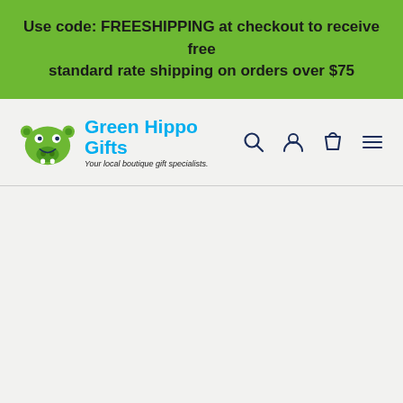Use code: FREESHIPPING at checkout to receive free standard rate shipping on orders over $75
[Figure (logo): Green Hippo Gifts logo with cartoon hippo icon, brand name in cyan/blue, and tagline 'Your local boutique gift specialists.']
[Figure (infographic): Navigation icons: search magnifying glass, user account person, shopping bag/cart, and hamburger menu lines]